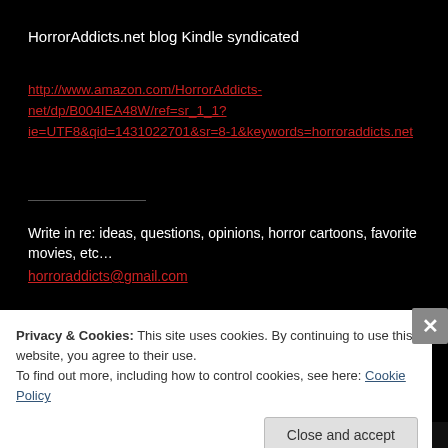HorrorAddicts.net blog Kindle syndicated
http://www.amazon.com/HorrorAddicts-net/dp/B004IEA48W/ref=sr_1_1?ie=UTF8&qid=1431022701&sr=8-1&keywords=horroraddicts.net
Write in re: ideas, questions, opinions, horror cartoons, favorite movies, etc…
horroraddicts@gmail.com
Privacy & Cookies: This site uses cookies. By continuing to use this website, you agree to their use.
To find out more, including how to control cookies, see here: Cookie Policy
Close and accept